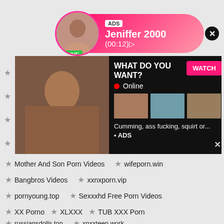[Figure (screenshot): Ad banner with profile photo, LIVE badge, notification badge, ADS label, name Jeniffer 2000, time (00:12), close button]
[Figure (screenshot): Adult advertisement overlay with video thumbnail on left, WHAT DO YOU WANT? text, WATCH button, Online indicator, three thumbnail images, text 'Cumming, ass fucking, squirt or...', ADS label, close X]
Mother And Son Porn Videos
wifeporn.win
Bangbros Videos
xxnxporn.vip
pornyoung.top
Sexxxhd Free Porn Videos
XX Porno
XLXXX
TUB XXX Porn
russiansdolls.top
xnxxteen.work